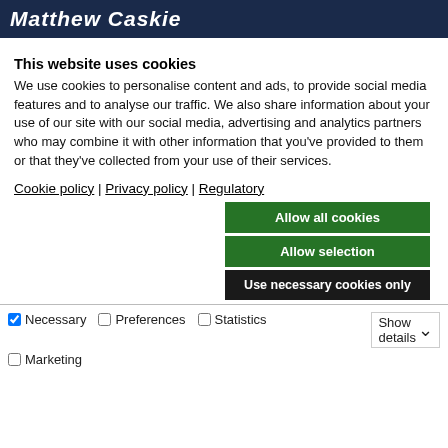Matthew Caskie
This website uses cookies
We use cookies to personalise content and ads, to provide social media features and to analyse our traffic. We also share information about your use of our site with our social media, advertising and analytics partners who may combine it with other information that you’ve provided to them or that they’ve collected from your use of their services.
Cookie policy | Privacy policy | Regulatory
Allow all cookies
Allow selection
Use necessary cookies only
Necessary   Preferences   Statistics   Show details   Marketing